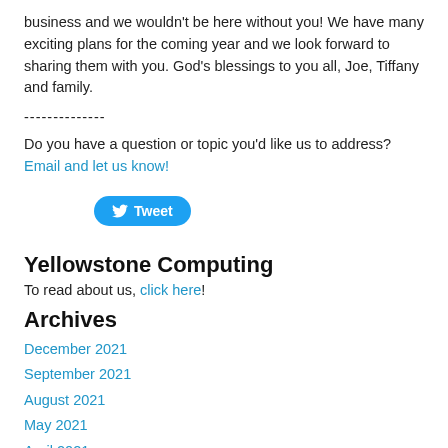business and we wouldn't be here without you! We have many exciting plans for the coming year and we look forward to sharing them with you. God's blessings to you all, Joe, Tiffany and family.
--------------
Do you have a question or topic you'd like us to address? Email and let us know!
[Figure (other): Tweet button with Twitter bird icon]
Yellowstone Computing
To read about us, click here!
Archives
December 2021
September 2021
August 2021
May 2021
April 2021
March 2021